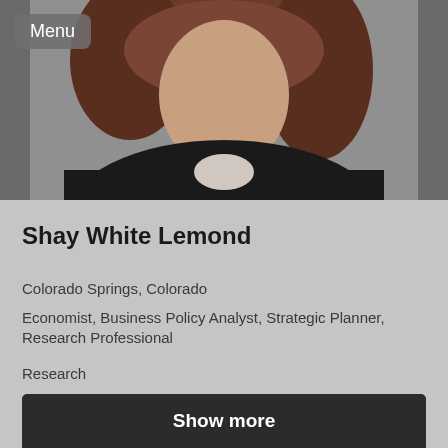[Figure (photo): Headshot photo of a woman with curly reddish-brown hair wearing a dark jacket, photographed from roughly chest up against a neutral background. A 'Menu' button overlay appears in the top-left corner.]
Shay White Lemond
Colorado Springs, Colorado
Economist, Business Policy Analyst, Strategic Planner, Research Professional
Research
Show more